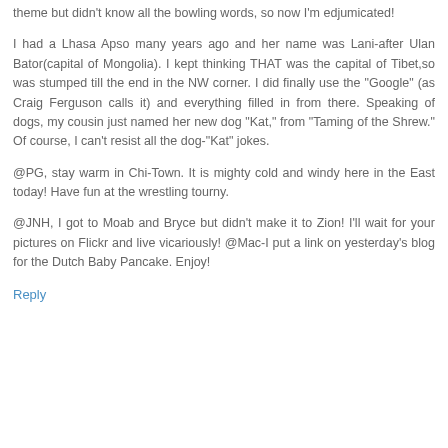theme but didn't know all the bowling words, so now I'm edjumicated!
I had a Lhasa Apso many years ago and her name was Lani-after Ulan Bator(capital of Mongolia). I kept thinking THAT was the capital of Tibet,so was stumped till the end in the NW corner. I did finally use the "Google" (as Craig Ferguson calls it) and everything filled in from there. Speaking of dogs, my cousin just named her new dog "Kat," from "Taming of the Shrew." Of course, I can't resist all the dog-"Kat" jokes.
@PG, stay warm in Chi-Town. It is mighty cold and windy here in the East today! Have fun at the wrestling tourny.
@JNH, I got to Moab and Bryce but didn't make it to Zion! I'll wait for your pictures on Flickr and live vicariously! @Mac-I put a link on yesterday's blog for the Dutch Baby Pancake. Enjoy!
Reply